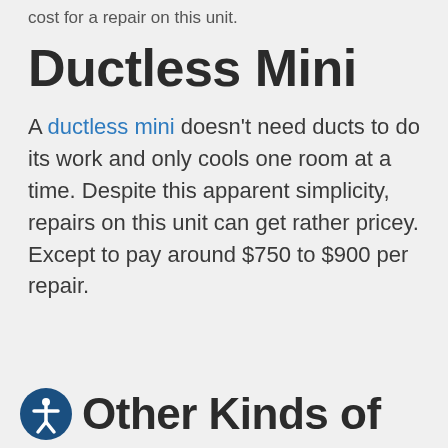cost for a repair on this unit.
Ductless Mini
A ductless mini doesn't need ducts to do its work and only cools one room at a time. Despite this apparent simplicity, repairs on this unit can get rather pricey. Except to pay around $750 to $900 per repair.
Other Kinds of AC Repairs